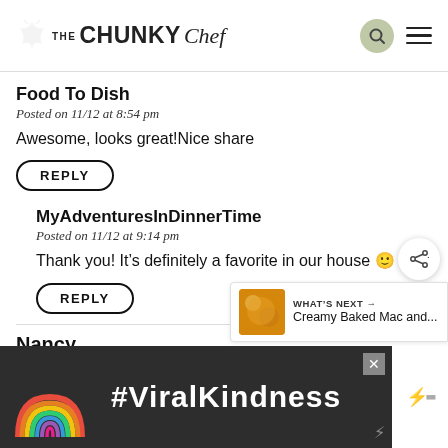THE CHUNKY Chef
Food To Dish
Posted on 11/12 at 8:54 pm
Awesome, looks great!Nice share
REPLY
MyAdventuresInDinnerTime
Posted on 11/12 at 9:14 pm
Thank you! It’s definitely a favorite in our house 🙂
REPLY
Nancy
Pos...
De...
[Figure (screenshot): Advertisement banner with rainbow graphic and text #ViralKindness on dark background]
WHAT'S NEXT → Creamy Baked Mac and...